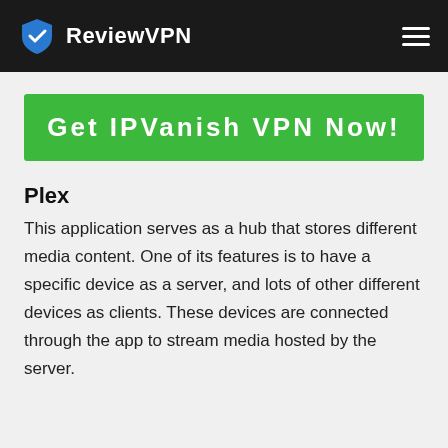ReviewVPN
[Figure (other): Green call-to-action button with text 'Get IPVanish VPN Now!']
Plex
This application serves as a hub that stores different media content. One of its features is to have a specific device as a server, and lots of other different devices as clients. These devices are connected through the app to stream media hosted by the server.